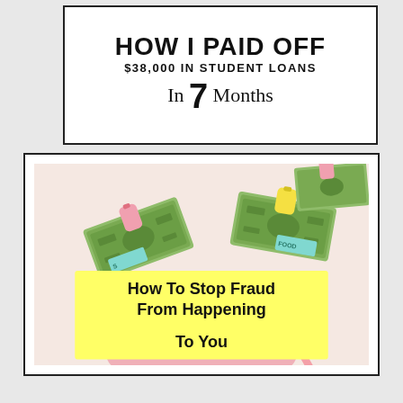HOW I PAID OFF $38,000 IN STUDENT LOANS In 7 Months
[Figure (photo): Photo of dollar bill bundles clipped with colorful clothespins (pink, yellow) with budget labels on pink paper, on a light pink background, with a pink wallet/purse at the bottom. Yellow overlay box reads 'How To Stop Fraud From Happening To You'.]
How To Stop Fraud From Happening To You